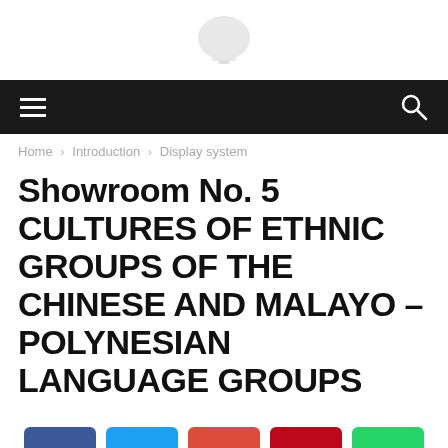[Figure (logo): White bell/lamp shape logo on white background]
≡  [navigation bar with hamburger menu and search icon]
Home › Introduction › Display system
Showroom No. 5 CULTURES OF ETHNIC GROUPS OF THE CHINESE AND MALAYO – POLYNESIAN LANGUAGE GROUPS
[Figure (infographic): Social sharing buttons: Facebook (blue), Twitter (cyan), Google+ (red-orange), Pinterest (dark red), WhatsApp (green)]